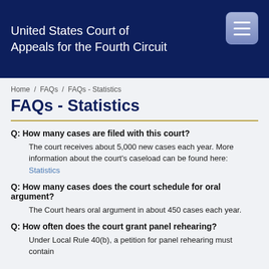United States Court of Appeals for the Fourth Circuit
Home / FAQs / FAQs - Statistics
FAQs - Statistics
Q: How many cases are filed with this court?
The court receives about 5,000 new cases each year. More information about the court's caseload can be found here: Statistics
Q: How many cases does the court schedule for oral argument?
The Court hears oral argument in about 450 cases each year.
Q: How often does the court grant panel rehearing?
Under Local Rule 40(b), a petition for panel rehearing must contain